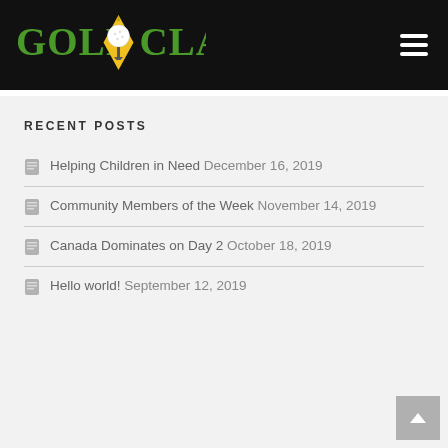GOLF CLASSIC
RECENT POSTS
Helping Children in Need December 16, 2019
Community Members of the Week November 14, 2019
Canada Dominates on Day 2 October 18, 2019
Hello world! September 12, 2019